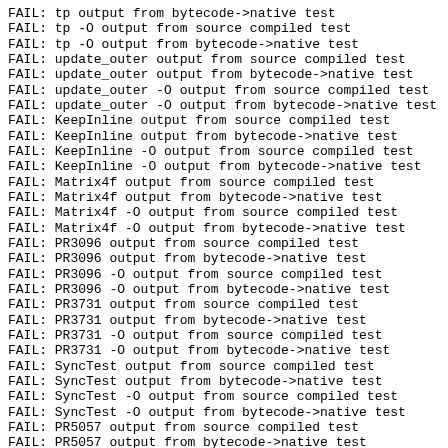FAIL: tp output from bytecode->native test
FAIL: tp -O output from source compiled test
FAIL: tp -O output from bytecode->native test
FAIL: update_outer output from source compiled test
FAIL: update_outer output from bytecode->native test
FAIL: update_outer -O output from source compiled test
FAIL: update_outer -O output from bytecode->native test
FAIL: KeepInline output from source compiled test
FAIL: KeepInline output from bytecode->native test
FAIL: KeepInline -O output from source compiled test
FAIL: KeepInline -O output from bytecode->native test
FAIL: Matrix4f output from source compiled test
FAIL: Matrix4f output from bytecode->native test
FAIL: Matrix4f -O output from source compiled test
FAIL: Matrix4f -O output from bytecode->native test
FAIL: PR3096 output from source compiled test
FAIL: PR3096 output from bytecode->native test
FAIL: PR3096 -O output from source compiled test
FAIL: PR3096 -O output from bytecode->native test
FAIL: PR3731 output from source compiled test
FAIL: PR3731 output from bytecode->native test
FAIL: PR3731 -O output from source compiled test
FAIL: PR3731 -O output from bytecode->native test
FAIL: SyncTest output from source compiled test
FAIL: SyncTest output from bytecode->native test
FAIL: SyncTest -O output from source compiled test
FAIL: SyncTest -O output from bytecode->native test
FAIL: PR5057 output from source compiled test
FAIL: PR5057 output from bytecode->native test
FAIL: PR5057 -O output from source compiled test